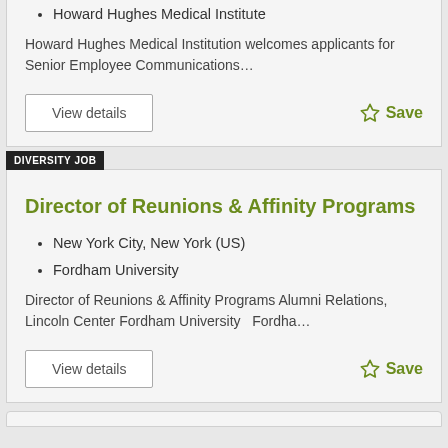Howard Hughes Medical Institute
Howard Hughes Medical Institution welcomes applicants for Senior Employee Communications…
View details
Save
DIVERSITY JOB
Director of Reunions & Affinity Programs
New York City, New York (US)
Fordham University
Director of Reunions & Affinity Programs Alumni Relations, Lincoln Center Fordham University   Fordha…
View details
Save